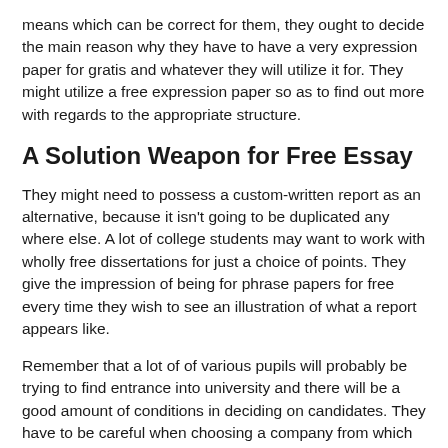means which can be correct for them, they ought to decide the main reason why they have to have a very expression paper for gratis and whatever they will utilize it for. They might utilize a free expression paper so as to find out more with regards to the appropriate structure.
A Solution Weapon for Free Essay
They might need to possess a custom-written report as an alternative, because it isn't going to be duplicated any where else. A lot of college students may want to work with wholly free dissertations for just a choice of points. They give the impression of being for phrase papers for free every time they wish to see an illustration of what a report appears like.
Remember that a lot of of various pupils will probably be trying to find entrance into university and there will be a good amount of conditions in deciding on candidates. They have to be careful when choosing a company from which they are gaining their university essay papers from. Wuthering heights essay is known as a to some degree recurring assignment provided in your pupils for a tactic to make their literary abilities.
Mastering the artwork of selecting creating service You can find a variety of essay turbines commonly accessible online. Your orders would be undertaken particularly while you want. A person can sit tension-free as soon as contracting knowledgeable essay aid online can positively be on